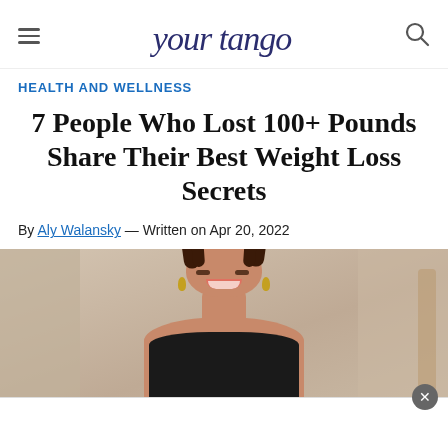YourTango
HEALTH AND WELLNESS
7 People Who Lost 100+ Pounds Share Their Best Weight Loss Secrets
By Aly Walansky — Written on Apr 20, 2022
[Figure (photo): Smiling woman with braided hair wearing a black tank top, photographed from shoulders up against a light neutral background]
[Figure (other): Advertisement overlay with close button (x)]